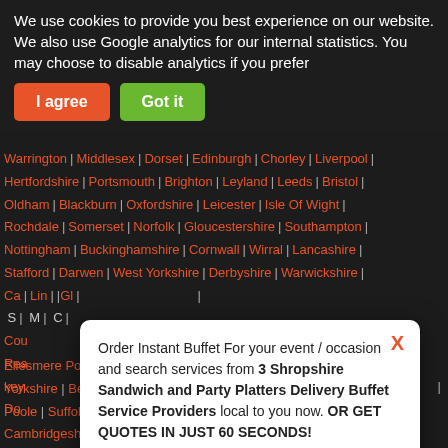We use cookies to provide you best experience on our website. We also use Google analytics for our internal statistics. You may choose to disable analytics if you prefer
I agree | Got it
Warrington | Middlesex | Dorset | Edinburgh | Chorley | Liverpool | Hertfordshire | Portsmouth | Brighton | Leyland | Leeds | Bristol | Oldham | Blackburn | Oxfordshire | Leicester | Isle Of Wight | Rochdale | Somerset | Norfolk | Gloucestershire | Southampton | Nottingham | Buckinghamshire | Cornwall | Wirral | Lancashire | Stafford | Darwen | West Yorkshire | Derbyshire | Warwickshire | Ca... | Lin... | Gl... | S... | M... | C...
Order Instant Buffet For your event / occasion and search services from 3 Shropshire Sandwich and Party Platters Delivery Buffet Service Providers local to you now. OR GET QUOTES IN JUST 60 SECONDS!
Search Now | Get Quotes
Ellesmere Port | Wigan | Widnes | Northumberland | Salisbury | East Yorkshire | Bedfordshire | Wrexham | Burnley | Northamptonshire | Poole | Suffolk | Isle of Man | Inverness | Dover | Halifax | Cambridgeshire | Solihull | East Lothian | Tunbridge Wells | Stirling